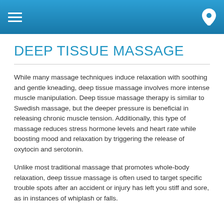DEEP TISSUE MASSAGE
While many massage techniques induce relaxation with soothing and gentle kneading, deep tissue massage involves more intense muscle manipulation. Deep tissue massage therapy is similar to Swedish massage, but the deeper pressure is beneficial in releasing chronic muscle tension. Additionally, this type of massage reduces stress hormone levels and heart rate while boosting mood and relaxation by triggering the release of oxytocin and serotonin.
Unlike most traditional massage that promotes whole-body relaxation, deep tissue massage is often used to target specific trouble spots after an accident or injury has left you stiff and sore, as in instances of whiplash or falls.